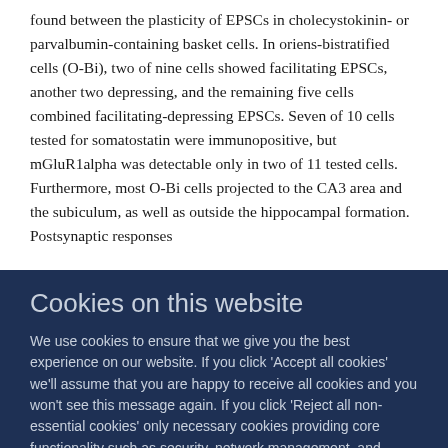found between the plasticity of EPSCs in cholecystokinin- or parvalbumin-containing basket cells. In oriens-bistratified cells (O-Bi), two of nine cells showed facilitating EPSCs, another two depressing, and the remaining five cells combined facilitating-depressing EPSCs. Seven of 10 cells tested for somatostatin were immunopositive, but mGluR1alpha was detectable only in two of 11 tested cells. Furthermore, most O-Bi cells projected to the CA3 area and the subiculum, as well as outside the hippocampal formation. Postsynaptic responses
Cookies on this website
We use cookies to ensure that we give you the best experience on our website. If you click 'Accept all cookies' we'll assume that you are happy to receive all cookies and you won't see this message again. If you click 'Reject all non-essential cookies' only necessary cookies providing core functionality such as security, network management, and accessibility will be enabled. Click 'Find out more' for